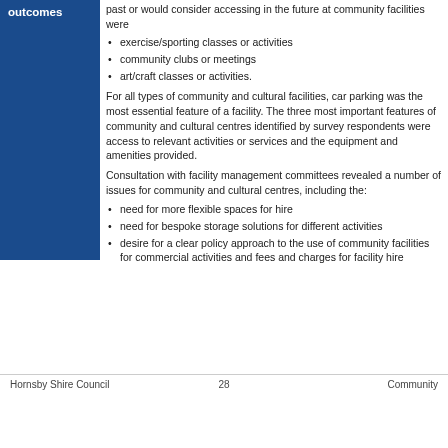outcomes
past or would consider accessing in the future at community facilities were
exercise/sporting classes or activities
community clubs or meetings
art/craft classes or activities.
For all types of community and cultural facilities, car parking was the most essential feature of a facility. The three most important features of community and cultural centres identified by survey respondents were access to relevant activities or services and the equipment and amenities provided.
Consultation with facility management committees revealed a number of issues for community and cultural centres, including the:
need for more flexible spaces for hire
need for bespoke storage solutions for different activities
desire for a clear policy approach to the use of community facilities for commercial activities and fees and charges for facility hire
Hornsby Shire Council                          28                          Community